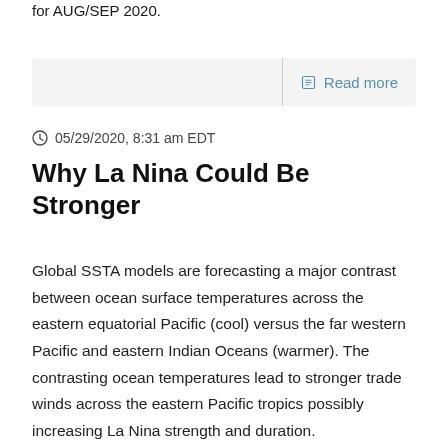for AUG/SEP 2020.
Read more
05/29/2020, 8:31 am EDT
Why La Nina Could Be Stronger
Global SSTA models are forecasting a major contrast between ocean surface temperatures across the eastern equatorial Pacific (cool) versus the far western Pacific and eastern Indian Oceans (warmer). The contrasting ocean temperatures lead to stronger trade winds across the eastern Pacific tropics possibly increasing La Nina strength and duration.